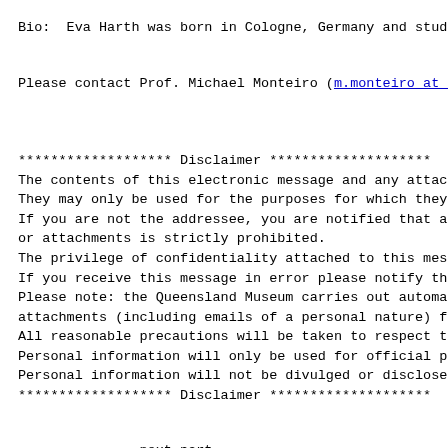Bio:  Eva Harth was born in Cologne, Germany and studied
Please contact Prof. Michael Monteiro (m.monteiro at uq.e
******************* Disclaimer ********************
The contents of this electronic message and any attachmen
They may only be used for the purposes for which they wer
If you are not the addressee, you are notified that any t
or attachments is strictly prohibited.
The privilege of confidentiality attached to this message
If you receive this message in error please notify the se
Please note: the Queensland Museum carries out automatic
attachments (including emails of a personal nature) for c
All reasonable precautions will be taken to respect the p
Personal information will only be used for official purpo
Personal information will not be divulged or disclosed to
******************* Disclaimer ********************
-------------- next part --------------
An HTML attachment was scrubbed...
URL: <https://www.lists.sublimeip.com/pipermail/asc-lista